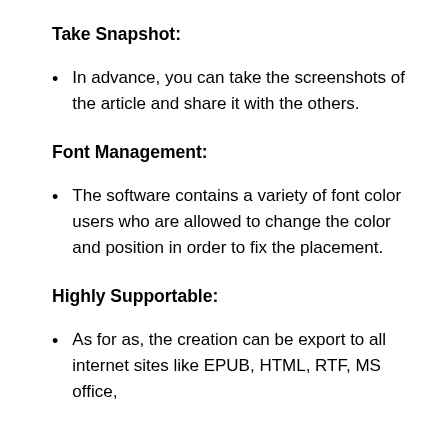Take Snapshot:
In advance, you can take the screenshots of the article and share it with the others.
Font Management:
The software contains a variety of font color users who are allowed to change the color and position in order to fix the placement.
Highly Supportable:
As for as, the creation can be export to all internet sites like EPUB, HTML, RTF, MS office,